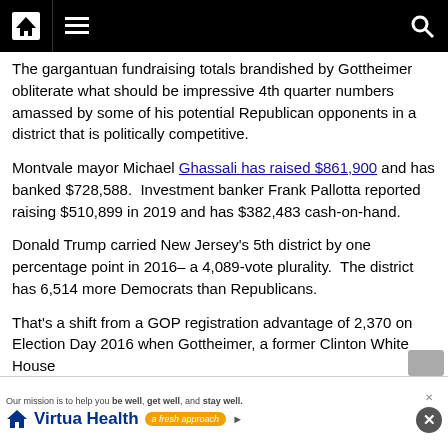Navigation bar with home, menu, and search icons
The gargantuan fundraising totals brandished by Gottheimer obliterate what should be impressive 4th quarter numbers amassed by some of his potential Republican opponents in a district that is politically competitive.
Montvale mayor Michael Ghassali has raised $861,900 and has banked $728,588.  Investment banker Frank Pallotta reported raising $510,899 in 2019 and has $382,483 cash-on-hand.
Donald Trump carried New Jersey’s 5th district by one percentage point in 2016– a 4,089-vote plurality.  The district has 6,514 more Democrats than Republicans.
That’s a shift from a GOP registration advantage of 2,370 on Election Day 2016 when Gottheimer, a former Clinton White House...
[Figure (infographic): Virtua Health advertisement banner at the bottom of the page with text 'Our mission is to help you be well, get well, and stay well.' and Virtua Health logo with 'a fresh approach' tagline]